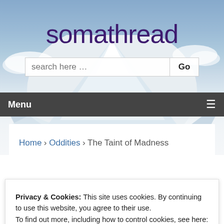[Figure (screenshot): Website header with snowy mountain background and site title 'somathread']
somathread
search here …
Menu
Home › Oddities › The Taint of Madness
Privacy & Cookies: This site uses cookies. By continuing to use this website, you agree to their use.
To find out more, including how to control cookies, see here: Cookie Policy
Close and accept